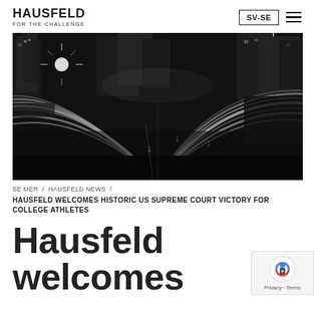HAUSFELD FOR THE CHALLENGE
[Figure (photo): Black and white long-exposure night photograph of a multi-lane highway with light trails from vehicles, city buildings in background.]
SE MER / HAUSFELD NEWS /
HAUSFELD WELCOMES HISTORIC US SUPREME COURT VICTORY FOR COLLEGE ATHLETES
Hausfeld welcomes